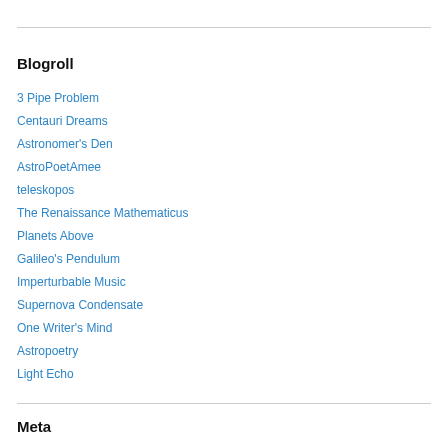Blogroll
3 Pipe Problem
Centauri Dreams
Astronomer's Den
AstroPoetAmee
teleskopos
The Renaissance Mathematicus
Planets Above
Galileo's Pendulum
Imperturbable Music
Supernova Condensate
One Writer's Mind
Astropoetry
Light Echo
Meta